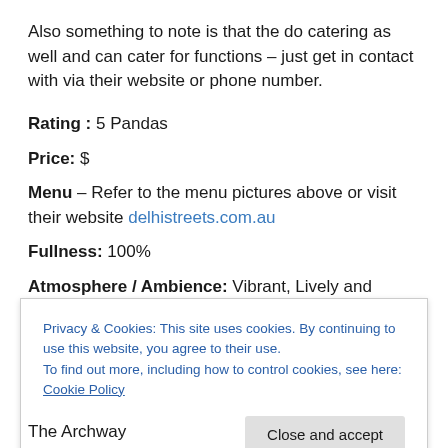Also something to note is that the do catering as well and can cater for functions – just get in contact with via their website or phone number.
Rating : 5 Pandas
Price: $
Menu – Refer to the menu pictures above or visit their website delhistreets.com.au
Fullness: 100%
Atmosphere / Ambience: Vibrant, Lively and Happening
Standout Dish: Pani Puri's!!!
Privacy & Cookies: This site uses cookies. By continuing to use this website, you agree to their use. To find out more, including how to control cookies, see here: Cookie Policy
The Archway